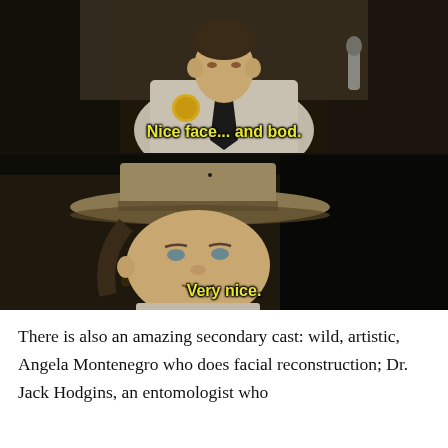[Figure (screenshot): Two-panel TV show screenshot. Top panel shows a male police officer in a tan uniform with a black tie, with yellow subtitle text 'Nice face... and bod.' Bottom panel shows a woman wearing a wide-brimmed ranger/drill sergeant hat looking to the side, with yellow subtitle text 'Very nice.']
There is also an amazing secondary cast: wild, artistic, Angela Montenegro who does facial reconstruction; Dr. Jack Hodgins, an entomologist who